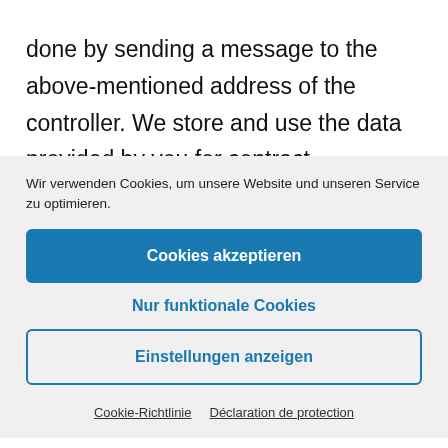done by sending a message to the above-mentioned address of the controller. We store and use the data provided by you for contract processing. After complete processing of the
Wir verwenden Cookies, um unsere Website und unseren Service zu optimieren.
Cookies akzeptieren
Nur funktionale Cookies
Einstellungen anzeigen
Cookie-Richtlinie   Déclaration de protection